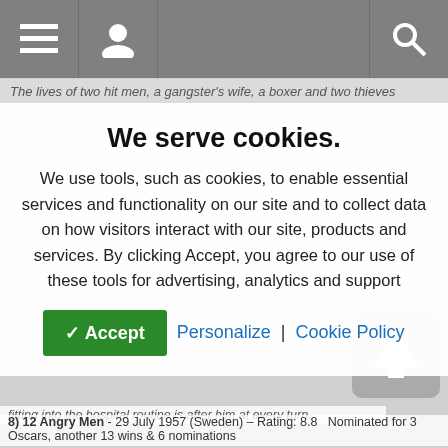[Figure (screenshot): Website navigation bar with hamburger menu icon, user profile icon on grey background, and search icon on the right]
The lives of two hit men, a gangster's wife, a boxer and two thieves
We serve cookies.
We use tools, such as cookies, to enable essential services and functionality on our site and to collect data on how visitors interact with our site, products and services. By clicking Accept, you agree to our use of these tools for advertising, analytics and support
✓ Accept   Personalize  |  Cookie Policy
fitting into the hospital routine is after him at every turn.
8) 12 Angry Men - 29 July 1957 (Sweden) – Rating: 8.8   Nominated for 3 Oscars, another 13 wins & 6 nominations